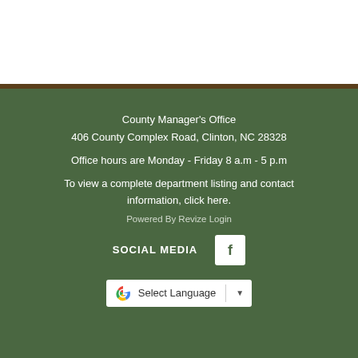County Manager's Office
406 County Complex Road, Clinton, NC 28328
Office hours are Monday - Friday 8 a.m - 5 p.m
To view a complete department listing and contact information, click here.
Powered By Revize Login
SOCIAL MEDIA
[Figure (logo): Facebook 'f' logo icon in white square on white background]
[Figure (other): Google Translate widget with Google G logo, 'Select Language' text, and dropdown arrow]